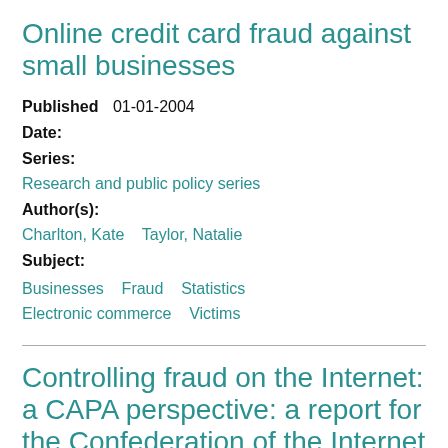Online credit card fraud against small businesses
Published   01-01-2004
Date:
Series:
Research and public policy series
Author(s):
Charlton, Kate    Taylor, Natalie
Subject:
Businesses   Fraud   Statistics   Electronic commerce   Victims
Controlling fraud on the Internet: a CAPA perspective: a report for the Confederation of the Internet Parties